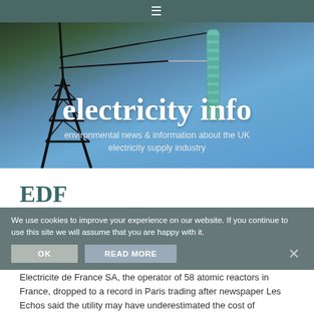≡
[Figure (photo): Photo of electricity pylon/power transmission tower against blue sky with insulator strings visible, with 'electricity info' website logo overlay]
electricity info
environmental news & information about the UK electricity supply industry
EDF
13th January 2016
We use cookies to improve your experience on our website. If you continue to use this site we will assume that you are happy with it.
Electricite de France SA, the operator of 58 atomic reactors in France, dropped to a record in Paris trading after newspaper Les Echos said the utility may have underestimated the cost of